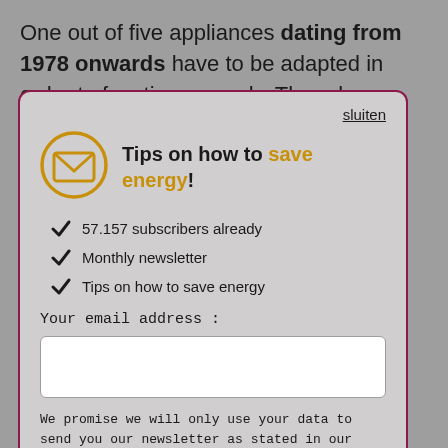One out of five appliances dating from 1978 onwards have to be adapted in order to function properly. The rule
sluiten
Tips on how to save energy!
57.157 subscribers already
Monthly newsletter
Tips on how to save energy
Your email address:
We promise we will only use your data to send you our newsletter as stated in our privacy_policy.
YES, PLEASE SUBSCRIBE ME